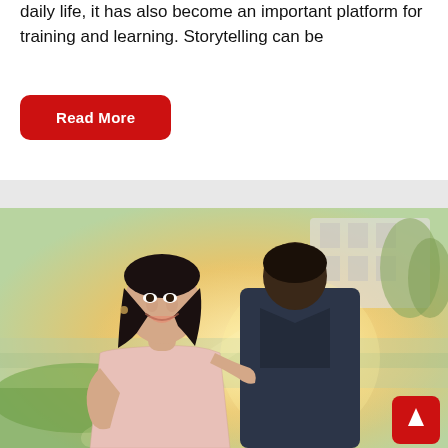daily life, it has also become an important platform for training and learning. Storytelling can be
[Figure (other): Read More button — red rounded rectangle with white bold text]
[Figure (photo): A couple in an outdoor setting at golden hour. A smiling woman with long dark hair in a light pink lace dress looks up at a man in a dark suit whose back is to the camera. Background shows a blurred building, green grass, and trees in warm light.]